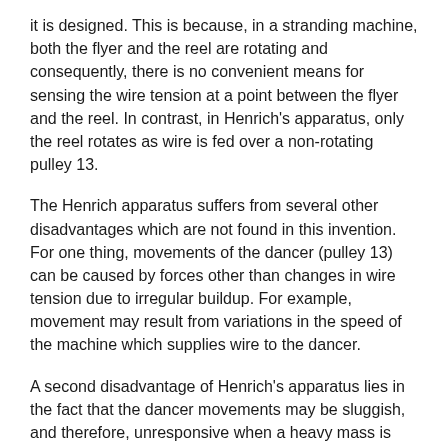it is designed. This is because, in a stranding machine, both the flyer and the reel are rotating and consequently, there is no convenient means for sensing the wire tension at a point between the flyer and the reel. In contrast, in Henrich's apparatus, only the reel rotates as wire is fed over a non-rotating pulley 13.
The Henrich apparatus suffers from several other disadvantages which are not found in this invention. For one thing, movements of the dancer (pulley 13) can be caused by forces other than changes in wire tension due to irregular buildup. For example, movement may result from variations in the speed of the machine which supplies wire to the dancer.
A second disadvantage of Henrich's apparatus lies in the fact that the dancer movements may be sluggish, and therefore, unresponsive when a heavy mass is involved.
Thirdly, changes in wire tension are often caused by the dancer itself because it is spring-loaded; thus, the spring force may vary with the position of the dancer or with the geometry of the wire path as the dancer moves, thereby introducing spurious variations in wire tension.